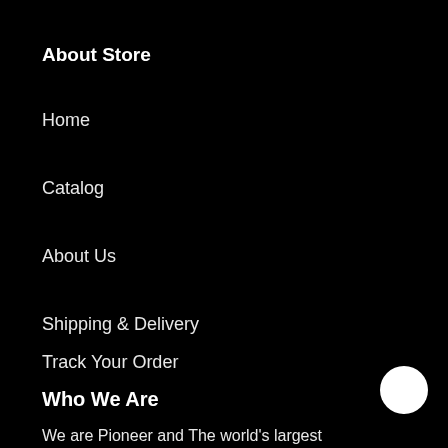About Store
Home
Catalog
About Us
Shipping & Delivery
Track Your Order
Who We Are
We are Pioneer and The world's largest manufacturers of high quality canvas art prints anime & gaming Crafts, at
[Figure (illustration): White chat bubble / message icon in the bottom right area]